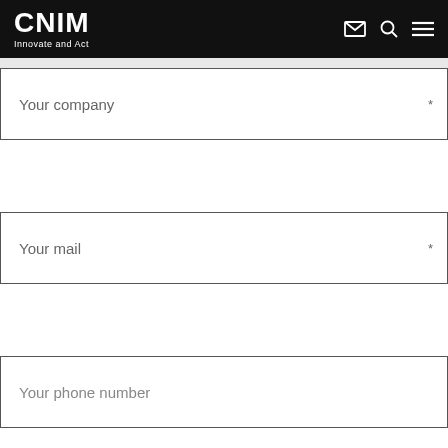CNIM Innovate and Act
Your company *
Your mail *
Your phone number
Message *